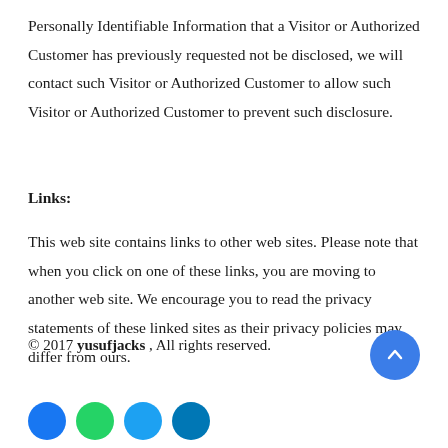Personally Identifiable Information that a Visitor or Authorized Customer has previously requested not be disclosed, we will contact such Visitor or Authorized Customer to allow such Visitor or Authorized Customer to prevent such disclosure.
Links:
This web site contains links to other web sites. Please note that when you click on one of these links, you are moving to another web site. We encourage you to read the privacy statements of these linked sites as their privacy policies may differ from ours.
© 2017 yusufjacks , All rights reserved.